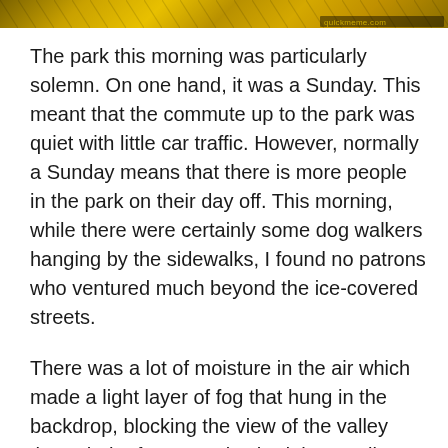[Figure (photo): A horizontal banner image at the top of the page, showing a dark golden/amber tone with a 'quickmeme.com' watermark in the bottom right corner.]
The park this morning was particularly solemn. On one hand, it was a Sunday. This meant that the commute up to the park was quiet with little car traffic. However, normally a Sunday means that there is more people in the park on their day off. This morning, while there were certainly some dog walkers hanging by the sidewalks, I found no patrons who ventured much beyond the ice-covered streets.
There was a lot of moisture in the air which made a light layer of fog that hung in the backdrop, blocking the view of the valley through the forest. It also had that quality that I love about fog – the muffled air effect. Far off sounds, like an airplane landing at Lunken Airfield, become drowned out as the fidelity is lost. Other sounds in the foreground,